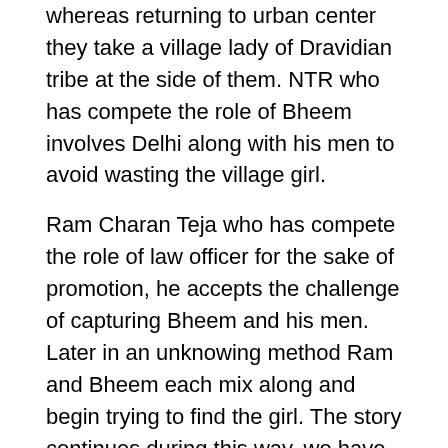whereas returning to urban center they take a village lady of Dravidian tribe at the side of them. NTR who has compete the role of Bheem involves Delhi along with his men to avoid wasting the village girl.
Ram Charan Teja who has compete the role of law officer for the sake of promotion, he accepts the challenge of capturing Bheem and his men. Later in an unknowing method Ram and Bheem each mix along and begin trying to find the girl. The story continues during this way. we have a tendency to don't suggest to transfer RRR moving picture from piracy web site like mkvking.
unseaworthy of movie on mkvking has slightly affected on the earnings of RRR movie. The movie team took all measures to forestall unleash of movie on torrent and